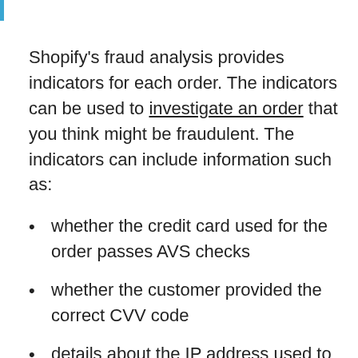Shopify's fraud analysis provides indicators for each order. The indicators can be used to investigate an order that you think might be fraudulent. The indicators can include information such as:
whether the credit card used for the order passes AVS checks
whether the customer provided the correct CVV code
details about the IP address used to place the order
whether the customer tried to use more than one credit card